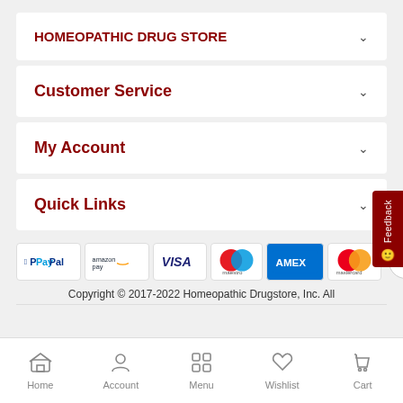HOMEOPATHIC DRUG STORE
Customer Service
My Account
Quick Links
[Figure (screenshot): Payment icons: PayPal, Amazon Pay, Visa, Maestro, Amex, Mastercard]
Copyright © 2017-2022 Homeopathic Drugstore, Inc. All
Home | Account | Menu | Wishlist | Cart